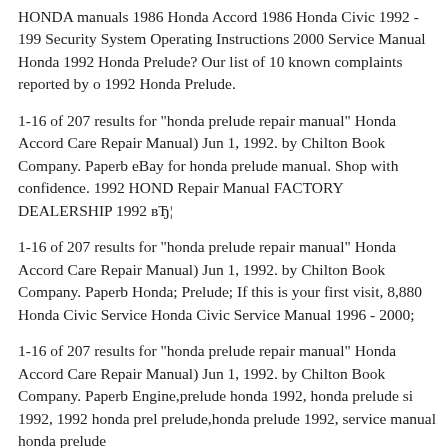HONDA manuals 1986 Honda Accord 1986 Honda Civic 1992 - 1990 Security System Operating Instructions 2000 Service Manual Honda 1992 Honda Prelude? Our list of 10 known complaints reported by owners of the 1992 Honda Prelude.
1-16 of 207 results for "honda prelude repair manual" Honda Accord Care Repair Manual) Jun 1, 1992. by Chilton Book Company. Paperback eBay for honda prelude manual. Shop with confidence. 1992 HONDA Repair Manual FACTORY DEALERSHIP 1992 вЂ¦
1-16 of 207 results for "honda prelude repair manual" Honda Accord Care Repair Manual) Jun 1, 1992. by Chilton Book Company. Paperback Honda; Prelude; If this is your first visit, 8,880 Honda Civic Service Honda Civic Service Manual 1996 - 2000;
1-16 of 207 results for "honda prelude repair manual" Honda Accord Care Repair Manual) Jun 1, 1992. by Chilton Book Company. Paperback Engine,prelude honda 1992, honda prelude si 1992, 1992 honda prelude,honda prelude 1992, service manual honda prelude